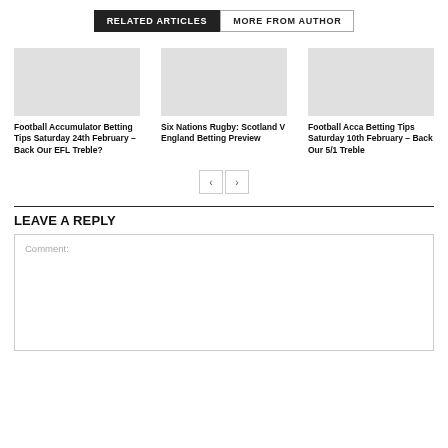RELATED ARTICLES | MORE FROM AUTHOR
Football Accumulator Betting Tips Saturday 24th February – Back Our EFL Treble?
Six Nations Rugby: Scotland V England Betting Preview
Football Acca Betting Tips Saturday 10th February – Back Our 5/1 Treble
LEAVE A REPLY
Comment: